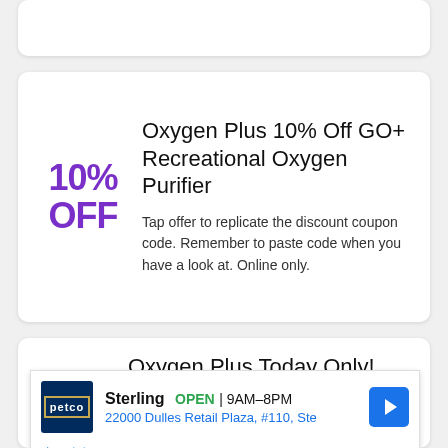Oxygen Plus 10% Off GO+ Recreational Oxygen Purifier
10% OFF
Tap offer to replicate the discount coupon code. Remember to paste code when you have a look at. Online only.
Oxygen Plus Today Only!
Sterling OPEN | 9AM–8PM 22000 Dulles Retail Plaza, #110, Ste